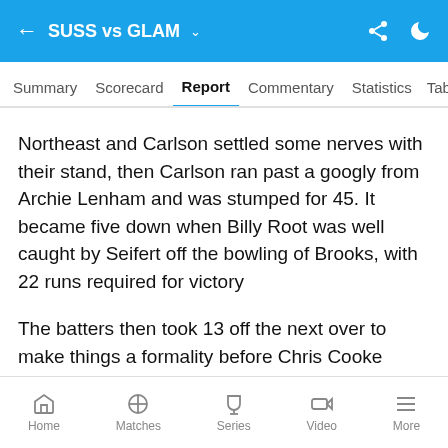SUSS vs GLAM
Summary  Scorecard  Report  Commentary  Statistics  Table
Northeast and Carlson settled some nerves with their stand, then Carlson ran past a googly from Archie Lenham and was stumped for 45. It became five down when Billy Root was well caught by Seifert off the bowling of Brooks, with 22 runs required for victory
The batters then took 13 off the next over to make things a formality before Chris Cooke smashed Lenham through the covers to seal a memorable win at Sophia Gardens. Northeast finishing unbeaten on 45.
Home  Matches  Series  Video  More